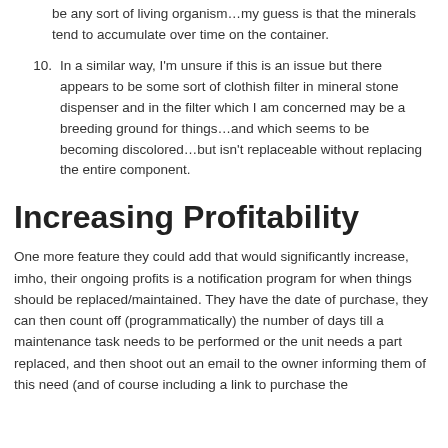be any sort of living organism…my guess is that the minerals tend to accumulate over time on the container.
10. In a similar way, I'm unsure if this is an issue but there appears to be some sort of clothish filter in mineral stone dispenser and in the filter which I am concerned may be a breeding ground for things…and which seems to be becoming discolored…but isn't replaceable without replacing the entire component.
Increasing Profitability
One more feature they could add that would significantly increase, imho, their ongoing profits is a notification program for when things should be replaced/maintained. They have the date of purchase, they can then count off (programmatically) the number of days till a maintenance task needs to be performed or the unit needs a part replaced, and then shoot out an email to the owner informing them of this need (and of course including a link to purchase the